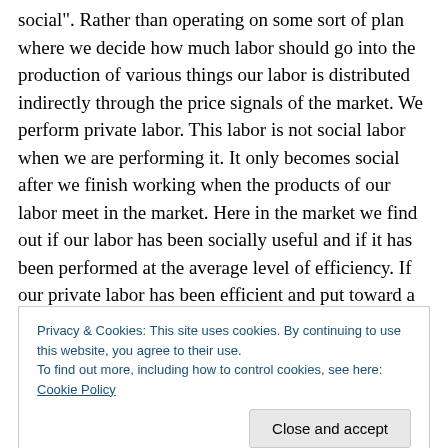social". Rather than operating on some sort of plan where we decide how much labor should go into the production of various things our labor is distributed indirectly through the price signals of the market. We perform private labor. This labor is not social labor when we are performing it. It only becomes social after we finish working when the products of our labor meet in the market. Here in the market we find out if our labor has been socially useful and if it has been performed at the average level of efficiency. If our private labor has been efficient and put toward a useful end our firm/boss/capitalist is rewarded for
Privacy & Cookies: This site uses cookies. By continuing to use this website, you agree to their use.
To find out more, including how to control cookies, see here: Cookie Policy
society. People are hired and fired. The labor process is